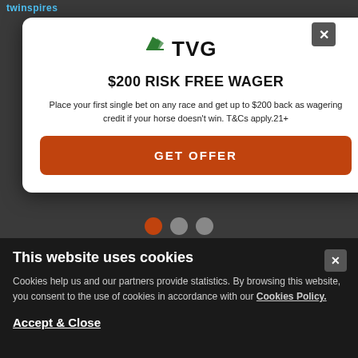[Figure (logo): TVG horse racing logo with green horse icon and bold TVG text]
$200 RISK FREE WAGER
Place your first single bet on any race and get up to $200 back as wagering credit if your horse doesn't win. T&Cs apply.21+
GET OFFER
[Figure (illustration): Kentucky Wildcats logo with golden running horse outline above KENTUCKY text in dark green]
This website uses cookies
Cookies help us and our partners provide statistics. By browsing this website, you consent to the use of cookies in accordance with our Cookies Policy.
Accept & Close